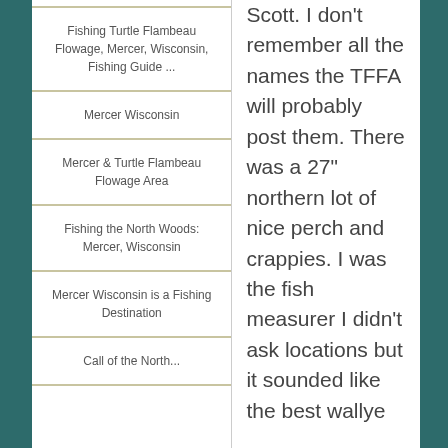Fishing Turtle Flambeau Flowage, Mercer, Wisconsin, Fishing Guide ...
Mercer Wisconsin
Mercer & Turtle Flambeau Flowage Area
Fishing the North Woods: Mercer, Wisconsin
Mercer Wisconsin is a Fishing Destination
Call of the North...
Scott. I don't remember all the names the TFFA will probably post them. There was a 27" northern lot of nice perch and crappies. I was the fish measurer I didn't ask locations but it sounded like the best wallye